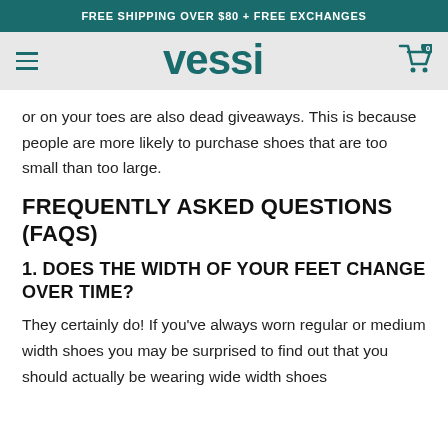FREE SHIPPING OVER $80 + FREE EXCHANGES
[Figure (logo): Vessi brand logo with hamburger menu and cart icon on gray navbar]
or on your toes are also dead giveaways. This is because people are more likely to purchase shoes that are too small than too large.
FREQUENTLY ASKED QUESTIONS (FAQS)
1. DOES THE WIDTH OF YOUR FEET CHANGE OVER TIME?
They certainly do! If you've always worn regular or medium width shoes you may be surprised to find out that you should actually be wearing wide width shoes